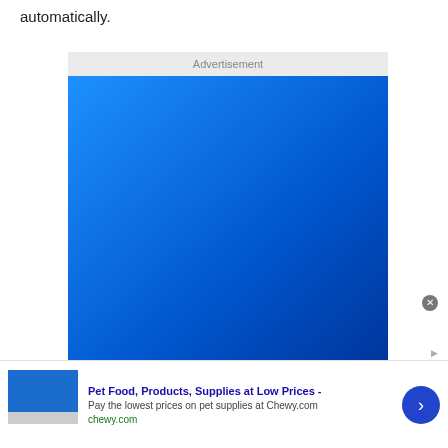automatically.
[Figure (other): Advertisement placeholder with blue gradient background]
[Figure (other): Bottom banner advertisement for Chewy.com pet food and supplies]